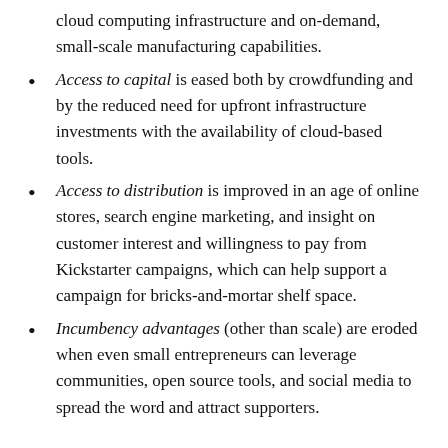cloud computing infrastructure and on-demand, small-scale manufacturing capabilities.
Access to capital is eased both by crowdfunding and by the reduced need for upfront infrastructure investments with the availability of cloud-based tools.
Access to distribution is improved in an age of online stores, search engine marketing, and insight on customer interest and willingness to pay from Kickstarter campaigns, which can help support a campaign for bricks-and-mortar shelf space.
Incumbency advantages (other than scale) are eroded when even small entrepreneurs can leverage communities, open source tools, and social media to spread the word and attract supporters.